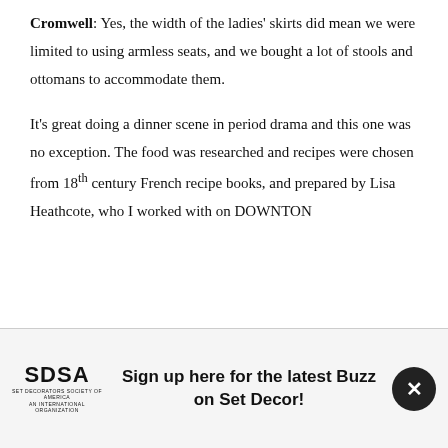Cromwell: Yes, the width of the ladies' skirts did mean we were limited to using armless seats, and we bought a lot of stools and ottomans to accommodate them.
It's great doing a dinner scene in period drama and this one was no exception. The food was researched and recipes were chosen from 18th century French recipe books, and prepared by Lisa Heathcote, who I worked with on DOWNTON
[Figure (logo): SDSA Set Decorators Society of America logo with text 'Sign up here for the latest Buzz on Set Decor!' and a close button]